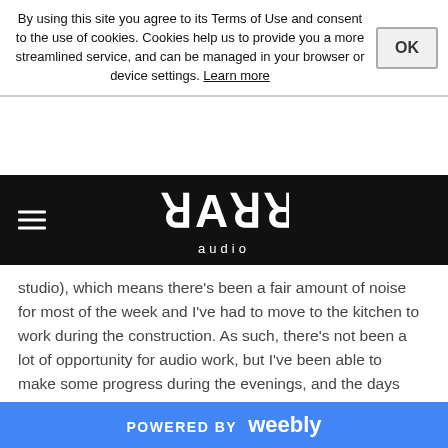By using this site you agree to its Terms of Use and consent to the use of cookies. Cookies help us to provide you a more streamlined service, and can be managed in your browser or device settings. Learn more
[Figure (logo): Chahal Audio logo in stylized white lettering on black background with hamburger menu icon]
studio), which means there's been a fair amount of noise for most of the week and I've had to move to the kitchen to work during the construction. As such, there's not been a lot of opportunity for audio work, but I've been able to make some progress during the evenings, and the days have been appropriate for web updates, marketing and work such as this blog. Still a few updates to tell though, so I figured I'd share them early since I can't get stuck in with mixing/mastering right now (good opportunity for composition though :D) Lets get started!
First thing on this weeks list: I don't know why it's taken so
POWERED BY weebly